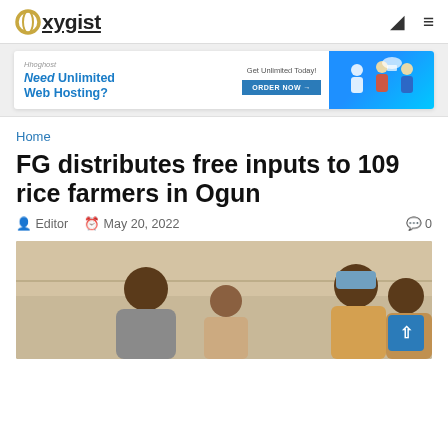Oxygist
[Figure (infographic): Web hosting advertisement banner: 'Need Unlimited Web Hosting? Get Unlimited Today! ORDER NOW' with illustrated characters]
Home
FG distributes free inputs to 109 rice farmers in Ogun
Editor  May 20, 2022  0
[Figure (photo): Photo of people at an event, appearing to be a government distribution event with men in traditional and casual attire]